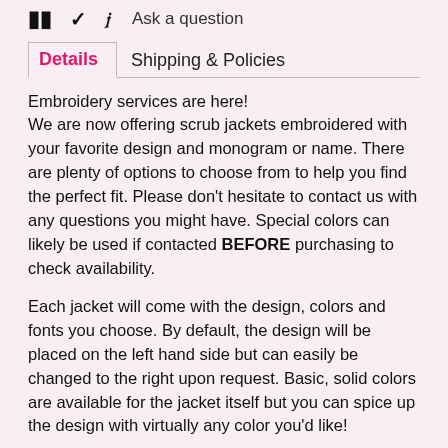Ask a question
Details	Shipping & Policies
Embroidery services are here!
We are now offering scrub jackets embroidered with your favorite design and monogram or name. There are plenty of options to choose from to help you find the perfect fit. Please don't hesitate to contact us with any questions you might have. Special colors can likely be used if contacted BEFORE purchasing to check availability.
Each jacket will come with the design, colors and fonts you choose. By default, the design will be placed on the left hand side but can easily be changed to the right upon request. Basic, solid colors are available for the jacket itself but you can spice up the design with virtually any color you'd like!